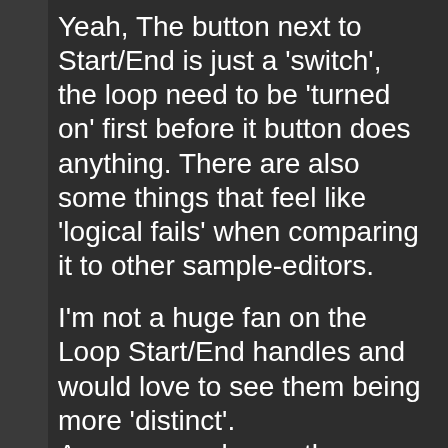Yeah, The button next to Start/End is just a 'switch', the loop need to be 'turned on' first before it button does anything. There are also some things that feel like 'logical fails' when comparing it to other sample-editors.
I'm not a huge fan on the Loop Start/End handles and would love to see them being more 'distinct'. As an example use the upper handles to set the sample Start/End bounds of the sample and the lower handles to set the loop start/end. Now with it...